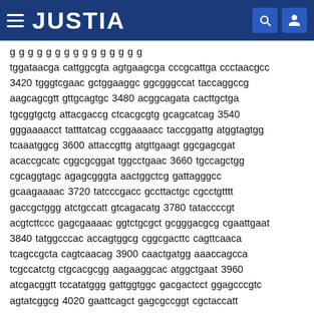JUSTIA
g g g g g g g g g g g g g g g tggataacga cattggcgta agtgaagcga cccgcattga ccctaacgcc 3420 tgggtcgaac gctggaaggc ggcgggccat taccaggccg aagcagcgtt gttgcagtgc 3480 acggcagata cacttgctga tgcggtgctg attacgaccg ctcacgcgtg gcagcatcag 3540 gggaaaacct tatttatcag ccggaaaacc taccggattg atggtagtgg tcaaatggcg 3600 attaccgttg atgttgaagt ggcgagcgat acaccgcatc cggcgcggat tggcctgaac 3660 tgccagctgg cgcaggtagc agagcgggta aactggctcg gattagggcc gcaagaaaac 3720 tatcccgacc gccttactgc cgcctgtttt gaccgctggg atctgccatt gtcagacatg 3780 tataccccgt acgtcttccc gagcgaaaac ggtctgcgct gcgggacgcg cgaattgaat 3840 tatggcccac accagtggcg cggcgacttc cagttcaaca tcagccgcta cagtcaacag 3900 caactgatgg aaaccagcca tcgccatctg ctgcacgcgg aagaaggcac atggctgaat 3960 atcgacggtt tccatatggg gattggtggc gacgactcct ggagcccgtc agtatcggcg 4020 gaattcagct gagcgccggt cgctaccatt